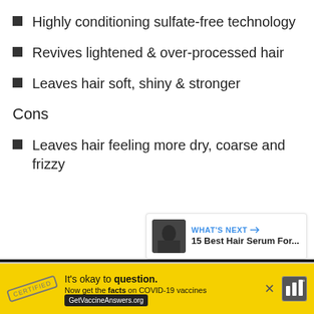Highly conditioning sulfate-free technology
Revives lightened & over-processed hair
Leaves hair soft, shiny & stronger
Cons
Leaves hair feeling more dry, coarse and frizzy
[Figure (screenshot): Like/heart button (blue circle with heart icon), count '1', and share button]
[Figure (screenshot): What's Next widget showing: 'WHAT'S NEXT →' label in blue, title '15 Best Hair Serum For...' with a thumbnail image of hair]
[Figure (screenshot): Advertisement banner on yellow background: stamp graphic, 'It's okay to question.' text, 'Now get the facts on COVID-19 vaccines', 'GetVaccineAnswers.org' button, close X, and logo]